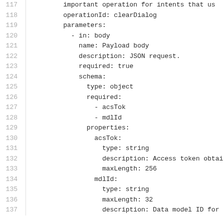117    important operation for intents that us
118    operationId: clearDialog
119    parameters:
120      - in: body
121        name: Payload body
122        description: JSON request.
123        required: true
124        schema:
125          type: object
126          required:
127            - acsTok
128            - mdlId
129          properties:
130            acsTok:
131              type: string
132              description: Access token obtai
133              maxLength: 256
134            mdlId:
135              type: string
136              maxLength: 32
137              description: Data model ID for